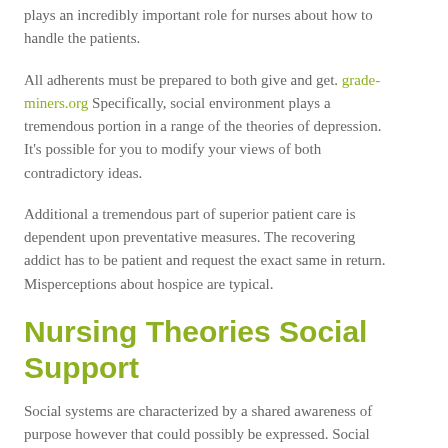plays an incredibly important role for nurses about how to handle the patients.
All adherents must be prepared to both give and get. grade-miners.org Specifically, social environment plays a tremendous portion in a range of the theories of depression. It's possible for you to modify your views of both contradictory ideas.
Additional a tremendous part of superior patient care is dependent upon preventative measures. The recovering addict has to be patient and request the exact same in return. Misperceptions about hospice are typical.
Nursing Theories Social Support
Social systems are characterized by a shared awareness of purpose however that could possibly be expressed. Social support has an important part in mental health and